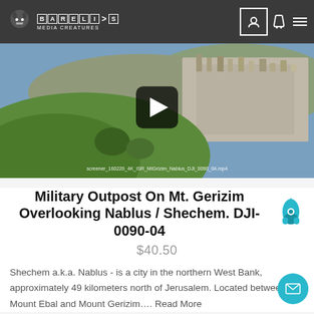BARELIS MEDIA CREATURES
[Figure (screenshot): Aerial drone video thumbnail showing Mt. Gerizim overlooking Nablus/Shechem city, with a video play button overlay and filename text at the bottom: screener_160226_4K_ISR_MtGrizim_Nablus_DJI_0090_04.mp4]
Military Outpost On Mt. Gerizim Overlooking Nablus / Shechem. DJI-0090-04
$40.50
Shechem a.k.a. Nablus - is a city in the northern West Bank, approximately 49 kilometers north of Jerusalem. Located between Mount Ebal and Mount Gerizim.... Read More